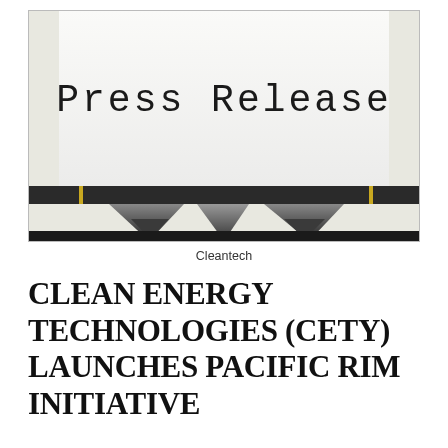[Figure (photo): Photograph of a typewriter with a white paper showing the text 'Press Release' in monospace typewriter font, with the typewriter's metal type guides visible in the foreground.]
Cleantech
CLEAN ENERGY TECHNOLOGIES (CETY) LAUNCHES PACIFIC RIM INITIATIVE